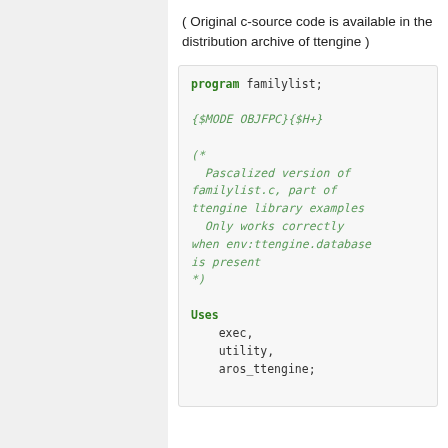( Original c-source code is available in the distribution archive of ttengine )
program familylist;

{$MODE OBJFPC}{$H+}

(*
  Pascalized version of familylist.c, part of ttengine library examples
  Only works correctly when env:ttengine.database is present
*)

Uses
  exec,
  utility,
  aros_ttengine;